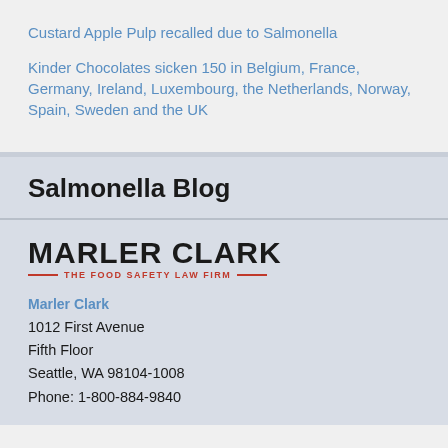Custard Apple Pulp recalled due to Salmonella
Kinder Chocolates sicken 150 in Belgium, France, Germany, Ireland, Luxembourg, the Netherlands, Norway, Spain, Sweden and the UK
Salmonella Blog
[Figure (logo): Marler Clark - The Food Safety Law Firm logo with red decorative lines]
Marler Clark
1012 First Avenue
Fifth Floor
Seattle, WA 98104-1008
Phone: 1-800-884-9840